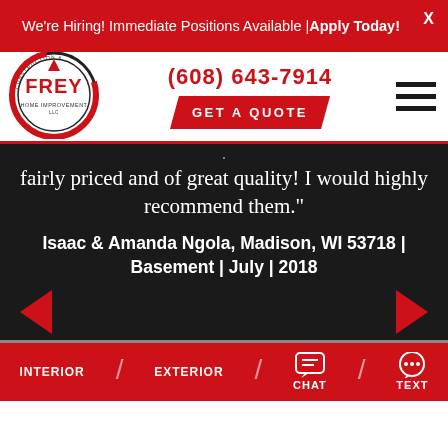We're Hiring! Immediate Positions Available | Apply Today!
[Figure (logo): Frey Construction & Home Improvement LLC circular logo with red and black design]
(608) 643-7914
GET A QUOTE
fairly priced and of great quality! I would highly recommend them."
Isaac & Amanda Ngola, Madison, WI 53718 | Basement | July | 2018
INTERIOR  EXTERIOR  CHAT  TEXT